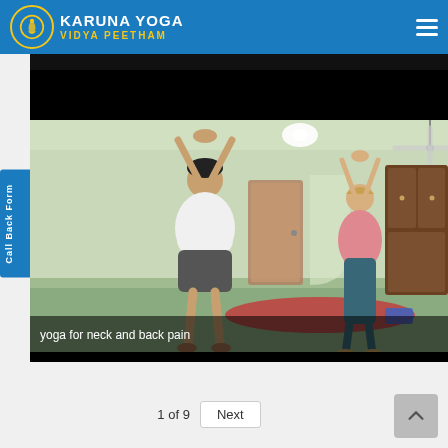KARUNA YOGA VIDYA PEETHAM
[Figure (screenshot): Website screenshot showing Karuna Yoga Vidya Peetham page with a yoga video thumbnail. Two people performing a yoga stretch (arms raised overhead) in an indoor room. Caption reads 'yoga for neck and back pain'. Page shows '1 of 9' with a Next button. A blue sidebar 'Call Back Form' label is on the left.]
yoga for neck and back pain
1 of 9
Next